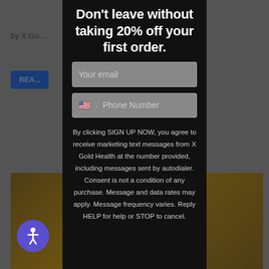Don't leave without taking 20% off your first order.
Your email
🇺🇸 ∨ Phone Number
By clicking SIGN UP NOW, you agree to receive marketing text messages from X Gold Health at the number provided, including messages sent by autodialer. Consent is not a condition of any purchase. Message and data rates may apply. Message frequency varies. Reply HELP for help or STOP to cancel.
[Figure (other): Accessibility/PageAssist icon button - purple circle with person/wheelchair symbol]